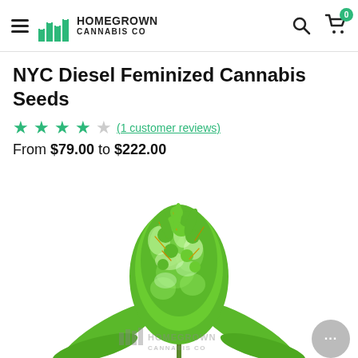Homegrown Cannabis Co — navigation header with logo, search, and cart
NYC Diesel Feminized Cannabis Seeds
★★★★☆ (1 customer reviews)
From $79.00 to $222.00
[Figure (photo): Close-up photo of a dense, frosty cannabis flower bud (NYC Diesel) with bright green leaves and white trichomes against a white background. Homegrown Cannabis Co watermark overlay at the bottom.]